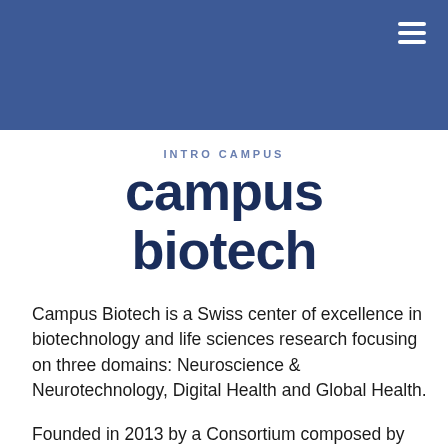[Figure (logo): Campus Biotech logo with dark blue text on white background, with a blue navigation header bar and hamburger menu icon]
Campus Biotech is a Swiss center of excellence in biotechnology and life sciences research focusing on three domains: Neuroscience & Neurotechnology, Digital Health and Global Health.
Founded in 2013 by a Consortium composed by the École polytechnique fédérale de Lausanne (EPFL), the University of Geneva (Unige), the Bertarelli Family and Hansjörg Wyss, the Campus functions like a giant incubator and focuses on pure